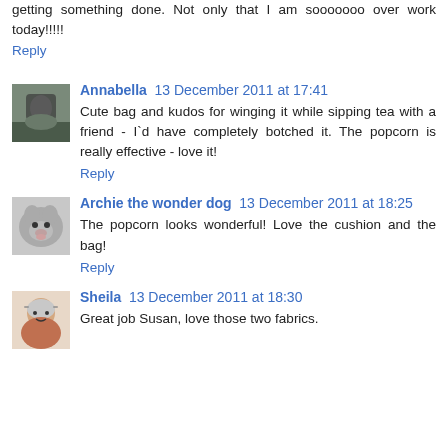getting something done. Not only that I am sooooooo over work today!!!!!
Reply
Annabella  13 December 2011 at 17:41
Cute bag and kudos for winging it while sipping tea with a friend - I`d have completely botched it. The popcorn is really effective - love it!
Reply
Archie the wonder dog  13 December 2011 at 18:25
The popcorn looks wonderful! Love the cushion and the bag!
Reply
Sheila  13 December 2011 at 18:30
Great job Susan, love those two fabrics.